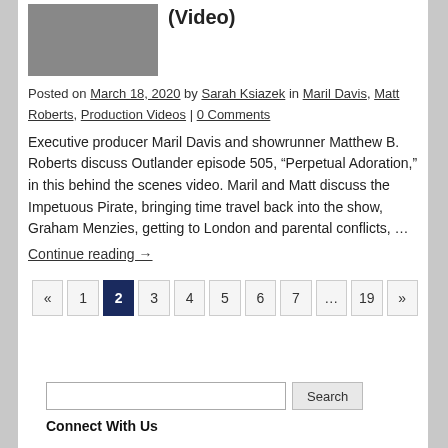[Figure (photo): Partial image of a person, cropped at top of page, floated left]
(Video)
Posted on March 18, 2020 by Sarah Ksiazek in Maril Davis, Matt Roberts, Production Videos | 0 Comments
Executive producer Maril Davis and showrunner Matthew B. Roberts discuss Outlander episode 505, “Perpetual Adoration,” in this behind the scenes video. Maril and Matt discuss the Impetuous Pirate, bringing time travel back into the show, Graham Menzies, getting to London and parental conflicts, …
Continue reading →
« 1 2 3 4 5 6 7 … 19 »
Search
Connect With Us